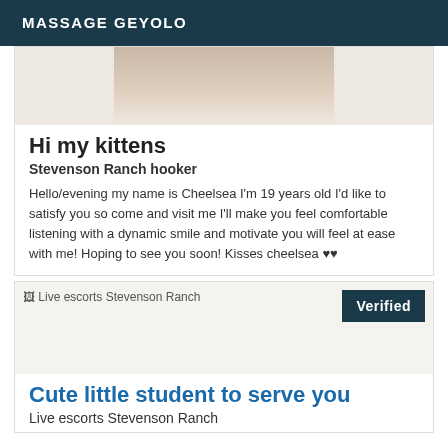MASSAGE GEYOLO
[Figure (photo): Partial photo showing a person in white clothing, cropped at top]
Hi my kittens
Stevenson Ranch hooker
Hello/evening my name is Cheelsea I'm 19 years old I'd like to satisfy you so come and visit me I'll make you feel comfortable listening with a dynamic smile and motivate you will feel at ease with me! Hoping to see you soon! Kisses cheelsea ♥♥
[Figure (photo): Image placeholder showing alt text: Live escorts Stevenson Ranch, with a Verified badge in top right]
Cute little student to serve you
Live escorts Stevenson Ranch